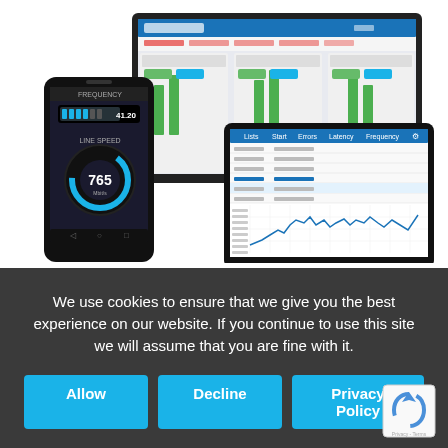[Figure (screenshot): Screenshot of a software application shown on multiple devices: a smartphone displaying a frequency/line speed dashboard with a circular gauge reading 765, a desktop monitor showing a 'Main overview' interface with multiple panels and controls, and a tablet showing a data table with a line chart below it.]
We use cookies to ensure that we give you the best experience on our website. If you continue to use this site we will assume that you are fine with it.
Allow
Decline
Privacy Policy